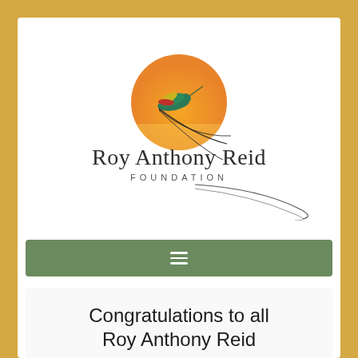[Figure (logo): Roy Anthony Reid Foundation logo with hummingbird over orange sun circle and flowing tail lines]
Roy Anthony Reid
FOUNDATION
[Figure (other): Green navigation bar with hamburger menu icon (three horizontal lines)]
Congratulations to all Roy Anthony Reid